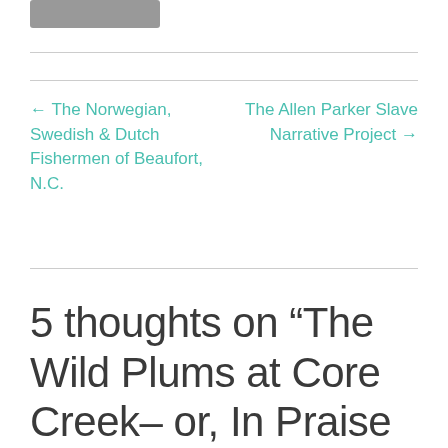[Figure (logo): Gray rectangular logo bar at top left]
← The Norwegian, Swedish & Dutch Fishermen of Beaufort, N.C.
The Allen Parker Slave Narrative Project →
5 thoughts on “The Wild Plums at Core Creek– or, In Praise of Slow Cooking”